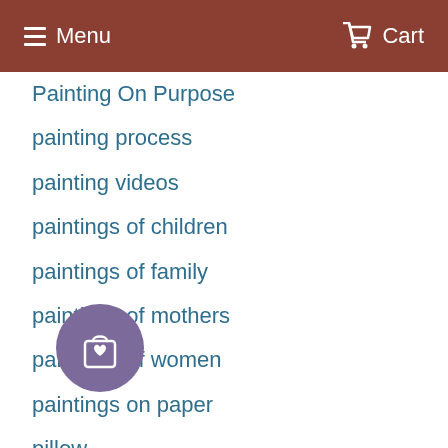Menu  Cart
Painting On Purpose
painting process
painting videos
paintings of children
paintings of family
paintings of mothers
paintings of women
paintings on paper
pillow
reward points
shipping paintings
sh...
Silent Story Project
Son Series